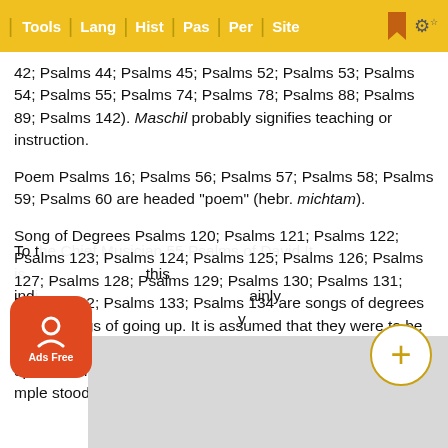Tools | Lang | Hist | Pas | Per | Site
42; Psalms 44; Psalms 45; Psalms 52; Psalms 53; Psalms 54; Psalms 55; Psalms 74; Psalms 78; Psalms 88; Psalms 89; Psalms 142). Maschil probably signifies teaching or instruction.
Poem Psalms 16; Psalms 56; Psalms 57; Psalms 58; Psalms 59; Psalms 60 are headed "poem" (hebr. michtam).
Song of Degrees Psalms 120; Psalms 121; Psalms 122; Psalms 123; Psalms 124; Psalms 125; Psalms 126; Psalms 127; Psalms 128; Psalms 129; Psalms 130; Psalms 131; Psalms 132; Psalms 133; Psalms 134 are songs of degrees that is songs of going up. It is assumed that they were to be sung either on journeys to great feasts in Jerusalem or going up to the hill where the temple stood.
To the Chief Musician 55 Psalms of David It is... this indi... ainly the... y